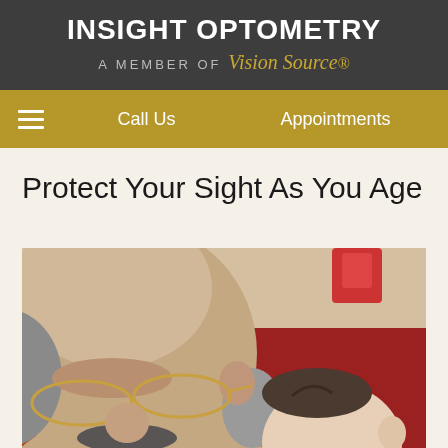INSIGHT OPTOMETRY — A MEMBER OF Vision Source
Call Us | Appointments
Protect Your Sight As You Age
[Figure (photo): An elderly man with glasses and a mustache looking down at a baby, seated in front of a red background]